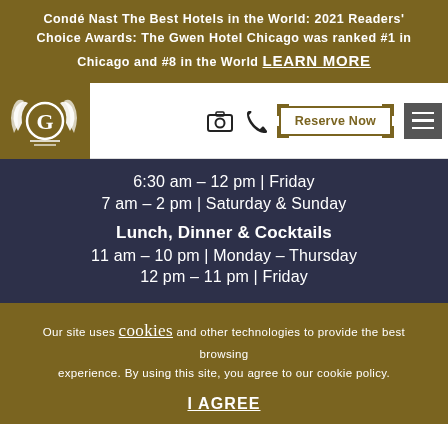Condé Nast The Best Hotels in the World: 2021 Readers' Choice Awards: The Gwen Hotel Chicago was ranked #1 in Chicago and #8 in the World LEARN MORE
[Figure (logo): The Gwen Hotel logo — stylized G with wing motifs on gold background]
6:30 am – 12 pm | Friday
7 am – 2 pm | Saturday & Sunday
Lunch, Dinner & Cocktails
11 am – 10 pm | Monday – Thursday
12 pm – 11 pm | Friday
Our site uses cookies and other technologies to provide the best browsing experience. By using this site, you agree to our cookie policy.
I AGREE